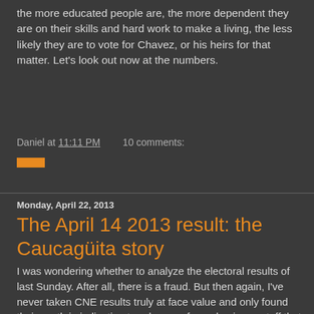the more educated people are, the more dependent they are on their skills and hard work to make a living, the less likely they are to vote for Chavez, or his heirs for that matter. Let's look out now at the numbers.
Daniel at 11:11 PM   10 comments:
Share
Monday, April 22, 2013
The April 14 2013 result: the Caucagüita story
I was wondering whether to analyze the electoral results of last Sunday. After all, there is a fraud. But then again, I've never taken CNE results truly at face value and only found their worth in indicating trends away from chavismo, stuff that even manipulated data cannot hide. So I have decided to make only two posts, this is the first one, retaking my poster community, Caucagüita.